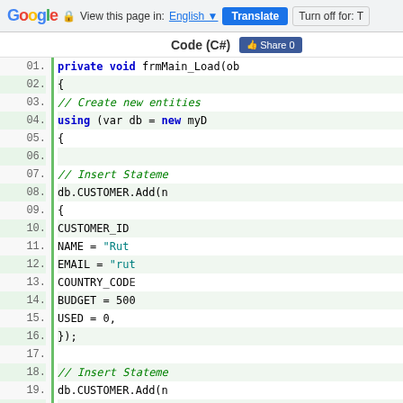Google | View this page in: English | Translate | Turn off for: T
Code (C#)
C# code snippet showing frmMain_Load method with CUSTOMER entity inserts using Entity Framework. Lines 01-29 visible.